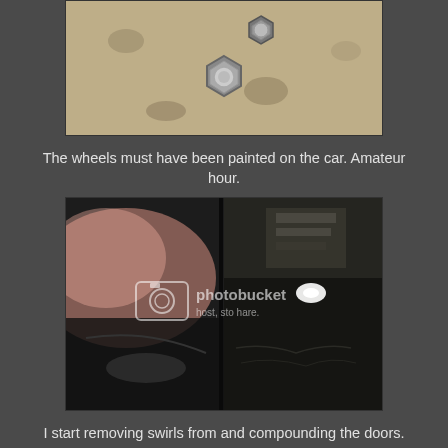[Figure (photo): Close-up photo of lug nuts or wheel nuts on a sandy/dirty surface]
The wheels must have been painted on the car. Amateur hour.
[Figure (photo): Car bodywork/doors showing swirl marks and paint condition, with Photobucket watermark overlay]
I start removing swirls from and compounding the doors.